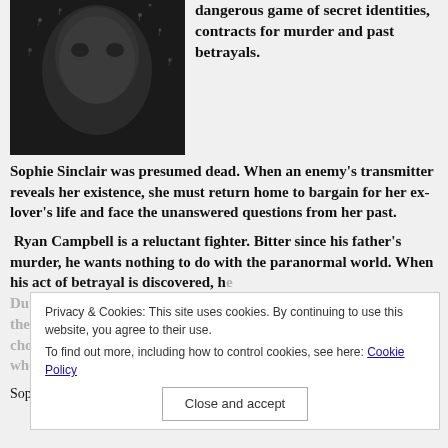[Figure (photo): Black and white photo of a face partially obscured, dramatic lighting, close-up with rain or water drops]
dangerous game of secret identities, contracts for murder and past betrayals.
Sophie Sinclair was presumed dead. When an enemy's transmitter reveals her existence, she must return home to bargain for her ex-lover's life and face the unanswered questions from her past.
Ryan Campbell is a reluctant fighter. Bitter since his father's murder, he wants nothing to do with the paranormal world. When his act of betrayal is discovered, he
Duty above love, duty above family and to protect the weak from the strong. Sophie has always lived by her family's motto. Will she choose to protect the ex-lover from her past or the reluctant fighter who could be her future? She can save only one man.
Sophie Sinclair sprinted toward the house on the other side of
Privacy & Cookies: This site uses cookies. By continuing to use this website, you agree to their use.
To find out more, including how to control cookies, see here: Cookie Policy
Close and accept